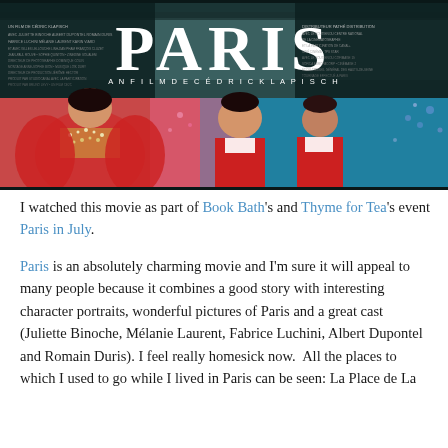[Figure (photo): Movie poster for 'Paris', a film by Cedric Klapisch. Shows the title PARIS in large white letters, with performers in colorful costumes including a woman in a bejeweled costume and two men smiling.]
I watched this movie as part of Book Bath's and Thyme for Tea's event Paris in July.
Paris is an absolutely charming movie and I'm sure it will appeal to many people because it combines a good story with interesting character portraits, wonderful pictures of Paris and a great cast (Juliette Binoche, Mélanie Laurent, Fabrice Luchini, Albert Dupontel and Romain Duris). I feel really homesick now.  All the places to which I used to go while I lived in Paris can be seen: La Place de La...